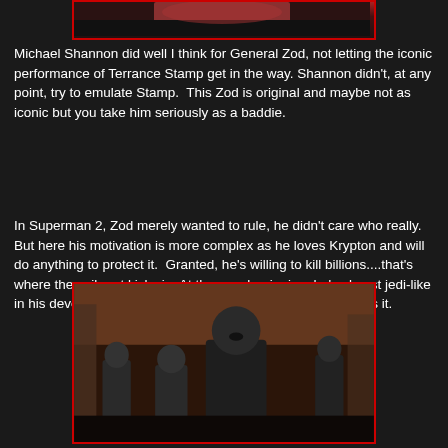[Figure (photo): Top portion of a movie still showing a figure in dark armor, partially cropped, with red border frame.]
Michael Shannon did well I think for General Zod, not letting the iconic performance of Terrance Stamp get in the way. Shannon didn't, at any point, try to emulate Stamp. This Zod is original and maybe not as iconic but you take him seriously as a baddie.
In Superman 2, Zod merely wanted to rule, he didn't care who really. But here his motivation is more complex as he loves Krypton and will do anything to protect it. Granted, he's willing to kill billions....that's where the evil part kicks in. At the very beginning, he's almost jedi-like in his devotion to his world and not the government that rules it.
[Figure (photo): Movie still from Man of Steel showing General Zod and several figures in dark Kryptonian armor, standing in a reddish-brown environment. Zod is centered with his mouth open, flanked by other characters including a smaller figure on the left and a figure on the right.]